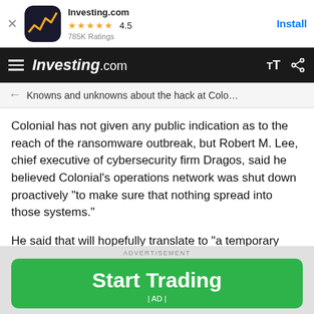[Figure (screenshot): App install banner for Investing.com with app icon, star rating 4.5, 785K Ratings, and Install button]
Investing.com navigation bar with hamburger menu, logo, font-size and share icons
Knowns and unknowns about the hack at Colo…
Colonial has not given any public indication as to the reach of the ransomware outbreak, but Robert M. Lee, chief executive of cybersecurity firm Dragos, said he believed Colonial's operations network was shut down proactively "to make sure that nothing spread into those systems."
He said that will hopefully translate to "a temporary outage versus something that would be more
[Figure (screenshot): Advertisement banner with green Start Trading button and AD label]